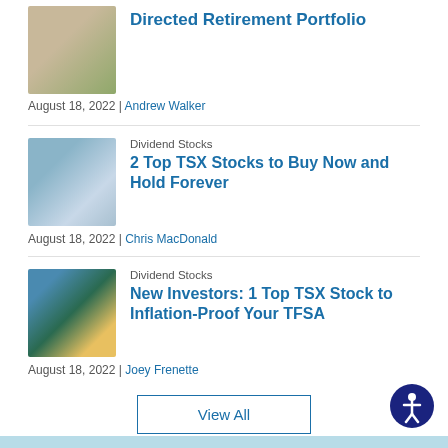Directed Retirement Portfolio
August 18, 2022 | Andrew Walker
Dividend Stocks
2 Top TSX Stocks to Buy Now and Hold Forever
August 18, 2022 | Chris MacDonald
Dividend Stocks
New Investors: 1 Top TSX Stock to Inflation-Proof Your TFSA
August 18, 2022 | Joey Frenette
View All